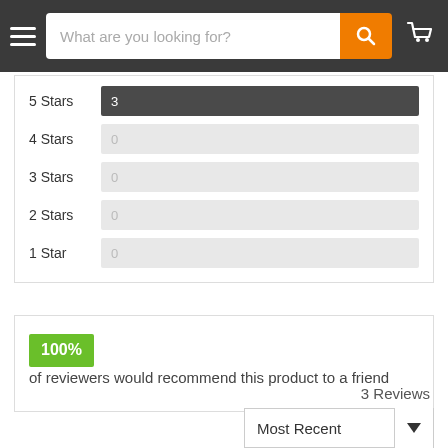What are you looking for?
[Figure (bar-chart): Star ratings distribution]
100% of reviewers would recommend this product to a friend
3 Reviews
Most Recent